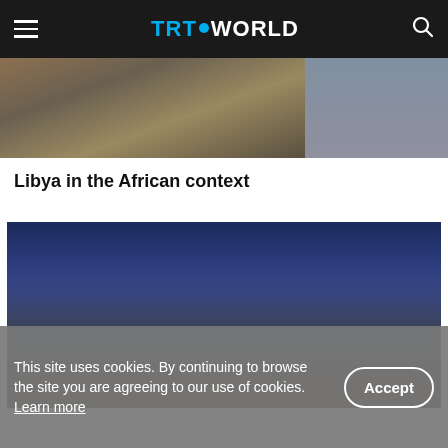TRT WORLD
[Figure (photo): Partially visible photo strip showing a burned/damaged vehicle on the left and a person in traditional dress on the right, appearing to be in a conflict zone context.]
Libya in the African context
[Figure (photo): Evening/night scene outside a landmark building (likely Kuala Lumpur's Sultan Abdul Samad Building with clock tower) with a crowd of people sitting on the ground sharing a meal, including children and a woman in a hijab in the foreground.]
This site uses cookies. By continuing to browse the site you are agreeing to our use of cookies. Learn more